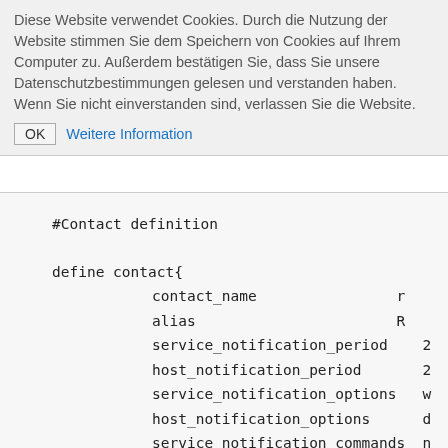Diese Website verwendet Cookies. Durch die Nutzung der Website stimmen Sie dem Speichern von Cookies auf Ihrem Computer zu. Außerdem bestätigen Sie, dass Sie unsere Datenschutzbestimmungen gelesen und verstanden haben. Wenn Sie nicht einverstanden sind, verlassen Sie die Website.
OK  Weitere Information
#Contact definition

define contact{
        contact_name                    r
        alias                           R
        service_notification_period     2
        host_notification_period        2
        service_notification_options    w
        host_notification_options       d
        service_notification_commands   n
        host_notification_commands      n